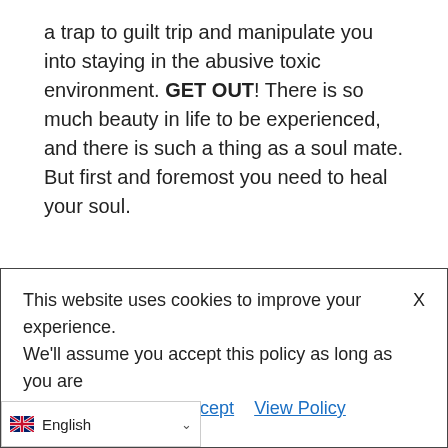a trap to guilt trip and manipulate you into staying in the abusive toxic environment. GET OUT! There is so much beauty in life to be experienced, and there is such a thing as a soul mate. But first and foremost you need to heal your soul.
If you know an abuse victim, be a listening ear and a lifeline. Be covert, and research any women's refuge out of the reach of the abuser.
This website uses cookies to improve your experience.  X We'll assume you accept this policy as long as you are using this website. Accept  View Policy